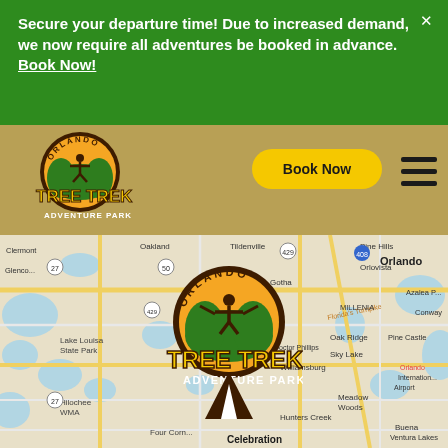Secure your departure time! Due to increased demand, we now require all adventures be booked in advance. Book Now!
[Figure (logo): Orlando Tree Trek Adventure Park logo - small version in navbar]
Book Now
[Figure (map): Google Maps view showing Orlando, Florida area with Orlando Tree Trek Adventure Park location marker. Visible cities include Orlando, Windermere, Celebration, Williamsburg, Hunters Creek, Pine Hills, Conway, Oak Ridge, Sky Lake, Lake Louisa State Park, Hilochee WMA, Meadow Woods, Buena Ventura Lakes, Azalea Park, Pine Castle, Orlando International Airport.]
[Figure (logo): Orlando Tree Trek Adventure Park map pin logo overlaid on map]